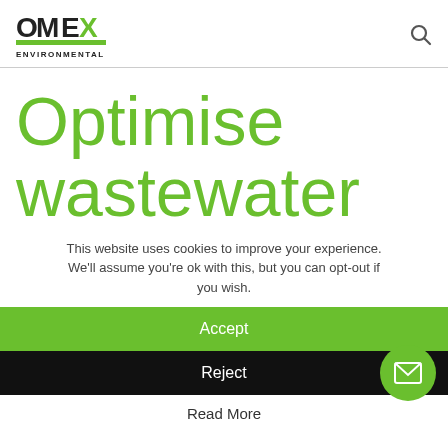OMEX ENVIRONMENTAL
Optimise wastewater
This website uses cookies to improve your experience. We'll assume you're ok with this, but you can opt-out if you wish.
Accept
Reject
Read More